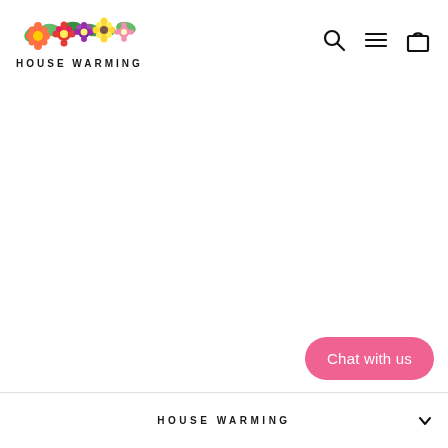HOUSE WARMING — navigation header with logo and icons
[Figure (logo): House Warming colorful tropical flower logo with text HOUSE WARMING below]
Chat with us
HOUSE WARMING